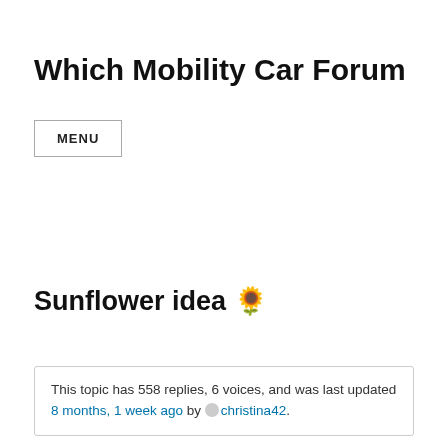Which Mobility Car Forum
MENU
Sunflower idea 🌻
This topic has 558 replies, 6 voices, and was last updated 8 months, 1 week ago by christina42.